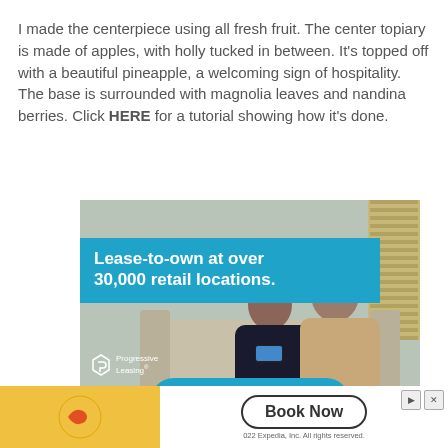I made the centerpiece using all fresh fruit. The center topiary is made of apples, with holly tucked in between. It's topped off with a beautiful pineapple, a welcoming sign of hospitality. The base is surrounded with magnolia leaves and nandina berries. Click HERE for a tutorial showing how it's done.
[Figure (illustration): Progressive Leasing advertisement showing a couple on a couch looking at a phone, with blue banner text 'Lease-to-own at over 30,000 retail locations.' and an 'Apply Now' button at the bottom.]
[Figure (illustration): Expedia advertisement banner with yellow background, Expedia arrow logo, and a 'Book Now' button. Fine print: '2022 Expedia, Inc. All rights reserved.']